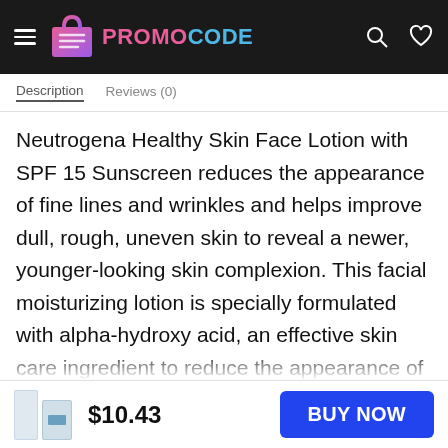PROMOCODE
Description   Reviews (0)
Neutrogena Healthy Skin Face Lotion with SPF 15 Sunscreen reduces the appearance of fine lines and wrinkles and helps improve dull, rough, uneven skin to reveal a newer, younger-looking skin complexion. This facial moisturizing lotion is specially formulated with alpha-hydroxy acid, an effective skin care ingredient to reduce the appearance of fine lines, as well as vitamins C, E and Pro-Vitamin B5 to help improve the texture and appearance of your skin. It also contains Broad Spectrum SPF 15 to protect skin
$10.43   BUY NOW